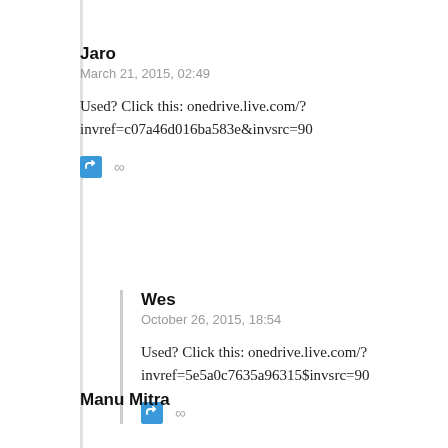Jaro
March 21, 2015, 02:49
Used? Click this: onedrive.live.com/?invref=c07a46d016ba583e&invsrc=90
Wes
October 26, 2015, 18:54
Used? Click this: onedrive.live.com/?invref=5e5a0c7635a96315$invsrc=90
Manu Mitra